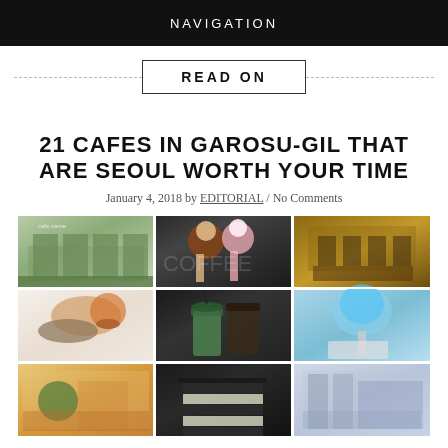NAVIGATION
READ ON
21 CAFES IN GAROSU-GIL THAT ARE SEOUL WORTH YOUR TIME
January 4, 2018 by EDITORIAL / No Comments
[Figure (photo): 3x3 grid of cafe photos from Garosu-gil Seoul, showing cafe exteriors, food items including ice cream and pastries, drinks including iced matcha, desserts including cotton candy and layered cake, and cafe interiors]